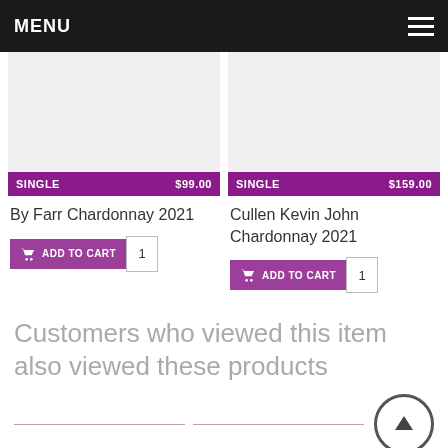MENU
SINGLE $99.00
By Farr Chardonnay 2021
ADD TO CART 1
SINGLE $159.00
Cullen Kevin John Chardonnay 2021
ADD TO CART 1
Customers who viewed this item also viewed these products